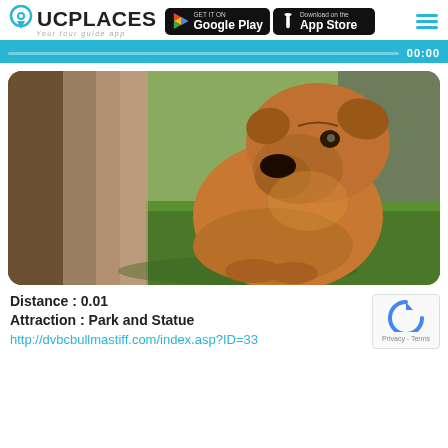[Figure (logo): UCPlaces logo with location pin icon and text 'your tour guide app']
[Figure (screenshot): Google Play and App Store download buttons on black backgrounds]
[Figure (photo): A large brown bullmastiff dog sitting next to a tree trunk on green grass]
Distance : 0.01
Attraction : Park and Statue
http://dvbcbullmastiff.com/index.asp?ID=33